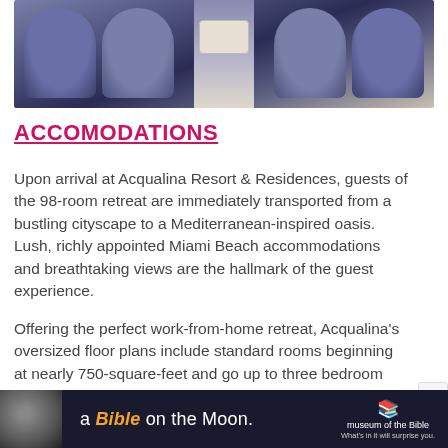[Figure (photo): Interior of an airplane cabin showing blue passenger seats with headrests on either side of an aisle, and a luggage item visible in the background]
ACCOMODATIONS
Upon arrival at Acqualina Resort & Residences, guests of the 98-room retreat are immediately transported from a bustling cityscape to a Mediterranean-inspired oasis. Lush, richly appointed Miami Beach accommodations and breathtaking views are the hallmark of the guest experience.
Offering the perfect work-from-home retreat, Acqualina's oversized floor plans include standard rooms beginning at nearly 750-square-feet and go up to three bedroom suites, which span more than 2,300-square-feet of indoor/outdoor space. All guest rooms feature classic furnishings with modern accents. Guests enjoy expansive bathrooms outfitted with
[Figure (photo): Advertisement banner: 'a Bible on the Moon.' Museum of the Bible — What's in it will surprise you.]